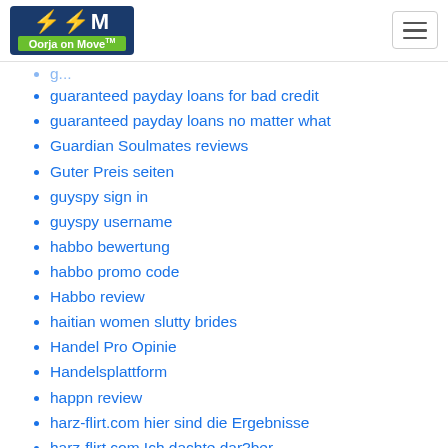Oorja on Move
guaranteed payday loans for bad credit
guaranteed payday loans no matter what
Guardian Soulmates reviews
Guter Preis seiten
guyspy sign in
guyspy username
habbo bewertung
habbo promo code
Habbo review
haitian women slutty brides
Handel Pro Opinie
Handelsplattform
happn review
harz-flirt.com hier sind die Ergebnisse
harz-flirt.com Ich dachte dar?ber